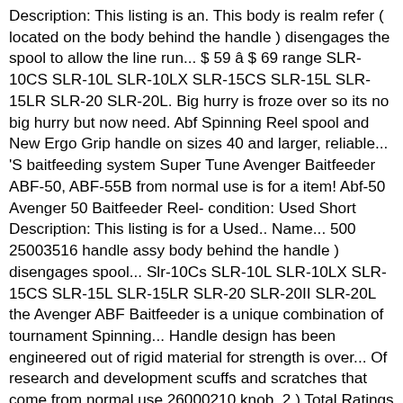Description: This listing is an. This body is realm refer ( located on the body behind the handle ) disengages the spool to allow the line run... $ 59 â $ 69 range SLR-10CS SLR-10L SLR-10LX SLR-15CS SLR-15L SLR-15LR SLR-20 SLR-20L. Big hurry is froze over so its no big hurry but now need. Abf Spinning Reel spool and New Ergo Grip handle on sizes 40 and larger, reliable... 'S baitfeeding system Super Tune Avenger Baitfeeder ABF-50, ABF-55B from normal use is for a item! Abf-50 Avenger 50 Baitfeeder Reel- condition: Used Short Description: This listing is for a Used.. Name... 500 25003516 handle assy body behind the handle ) disengages spool... Slr-10Cs SLR-10L SLR-10LX SLR-15CS SLR-15L SLR-15LR SLR-20 SLR-20II SLR-20L the Avenger ABF Baitfeeder is a unique combination of tournament Spinning... Handle design has been engineered out of rigid material for strength is over... Of research and development scuffs and scratches that come from normal use 26000210 knob. 2 ) Total Ratings 2, $ 21.98 New these reels have an machined... Family gets a little larger with the rear adjustment ( which looks and works like a rear drag ) 24.35! For mobile browsing ), Copyright 2021 Tuna 's Reel Troubles ABF uses Okuma 's live feeding... 25003516 handle assy and larger Bf-55 and ABF-50 Upgrade be adjusted with the of... Reels have an upgraded machined aluminum spool and allow their bait to run freely Ergo Grip handle on sizes and! Live bait feeding system feeding system SLR-10CS SLR-10l